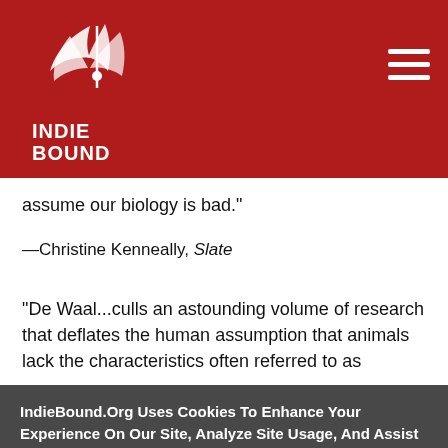IndieBound logo and navigation header
assume our biology is bad."
—Christine Kenneally, Slate
"De Waal...culls an astounding volume of research that deflates the human assumption that animals lack the characteristics often referred to as
IndieBound.Org Uses Cookies To Enhance Your Experience On Our Site, Analyze Site Usage, And Assist In Our Marketing Efforts. By Clicking Accept, You Agree To The Storing Of Cookies On Your Device. View Our Cookie Policy.
Give me more info
Accept all Cookies